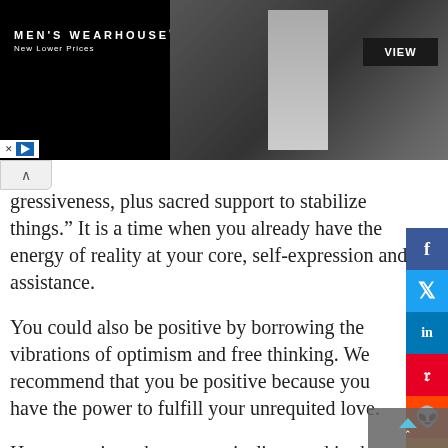[Figure (advertisement): Men's Wearhouse ad banner showing a couple in formal wear and a single man in a grey suit, with VIEW button. Black background with logo and New Lower Prices tagline.]
gressiveness, plus sacred support to stabilize things.” It is a time when you already have the energy of reality at your core, self-expression and assistance.
You could also be positive by borrowing the vibrations of optimism and free thinking. We recommend that you be positive because you have the power to fulfill your unrequited love.
However, since the process is distracted in the relationship of one or eight, it seems that the meaning of the number 4 will be lost.